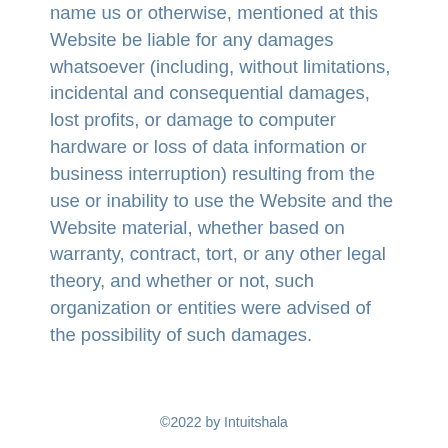name us or otherwise, mentioned at this Website be liable for any damages whatsoever (including, without limitations, incidental and consequential damages, lost profits, or damage to computer hardware or loss of data information or business interruption) resulting from the use or inability to use the Website and the Website material, whether based on warranty, contract, tort, or any other legal theory, and whether or not, such organization or entities were advised of the possibility of such damages.
©2022 by Intuitshala